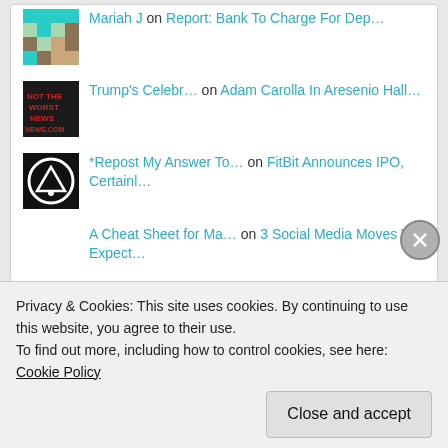Mariah J on Report: Bank To Charge For Dep…
Trump's Celebr… on Adam Carolla In Aresenio Hall…
*Repost My Answer To… on FitBit Announces IPO, Certainl…
A Cheat Sheet for Ma… on 3 Social Media Moves We Expect…
Recent Posts
Sean Hannity Tells Viewers Now Is Not The Time To
Privacy & Cookies: This site uses cookies. By continuing to use this website, you agree to their use.
To find out more, including how to control cookies, see here: Cookie Policy
Close and accept